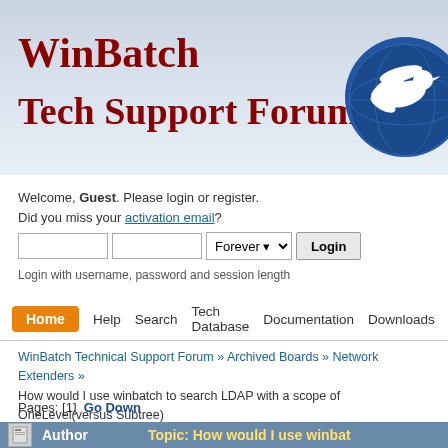WinBatch
Tech Support Forum
[Figure (logo): WinBatch logo: white bird/dove on blue circular globe background]
Welcome, Guest. Please login or register.
Did you miss your activation email?
Login with username, password and session length
Home  Help  Search  Tech Database  Documentation  Downloads  Hints
WinBatch Technical Support Forum » Archived Boards » Network Extenders » How would I use winbatch to search LDAP with a scope of OneLevel(versus Subtree)
Pages: [1]  Go Down
Author  Topic: How would I use winbat